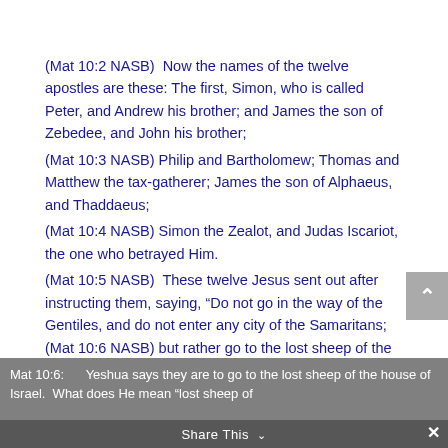(Mat 10:2 NASB)  Now the names of the twelve apostles are these: The first, Simon, who is called Peter, and Andrew his brother; and James the son of Zebedee, and John his brother;
(Mat 10:3 NASB) Philip and Bartholomew; Thomas and Matthew the tax-gatherer; James the son of Alphaeus, and Thaddaeus;
(Mat 10:4 NASB) Simon the Zealot, and Judas Iscariot, the one who betrayed Him.
(Mat 10:5 NASB)  These twelve Jesus sent out after instructing them, saying, “Do not go in the way of the Gentiles, and do not enter any city of the Samaritans; (Mat 10:6 NASB) but rather go to the lost sheep of the house of Israel.
Mat 10:6:      Yeshua says they are to go to the lost sheep of the house of Israel.  What does He mean “lost sheep of